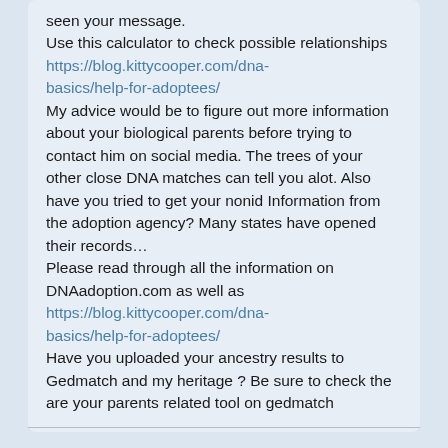seen your message.
Use this calculator to check possible relationships
https://blog.kittycooper.com/dna-basics/help-for-adoptees/
My advice would be to figure out more information about your biological parents before trying to contact him on social media. The trees of your other close DNA matches can tell you alot. Also have you tried to get your nonid Information from the adoption agency? Many states have opened their records…
Please read through all the information on DNAadoption.com as well as
https://blog.kittycooper.com/dna-basics/help-for-adoptees/
Have you uploaded your ancestry results to Gedmatch and my heritage ? Be sure to check the are your parents related tool on gedmatch